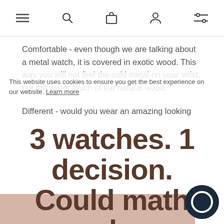[navigation bar with menu, search, bag, account, filter icons]
Comfortable - even though we are talking about a metal watch, it is covered in exotic wood. This way you will not feel the cold metal on your wrist, but the warm touch of the natural wood.
Different - would you wear an amazing looking watch?
3 watches. 1 decision. Could math solve this?
This website uses cookies to ensure you get the best experience on our website. Learn more